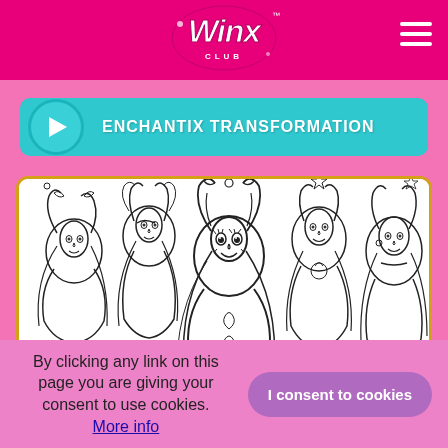[Figure (logo): Winx Club logo — stylized pink and white script with 'CLUB' subtitle, on hot pink header bar]
[Figure (screenshot): Teal video play button bar with text 'ENCHANTIX TRANSFORMATION']
[Figure (illustration): Black and white coloring page illustration of Winx Club fairy characters grouped together]
By clicking any link on this page you are giving your consent to use cookies. More info
I consent to cookies